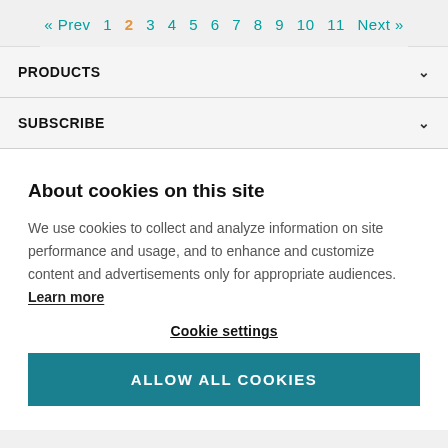« Prev 1 2 3 4 5 6 7 8 9 10 11 Next »
PRODUCTS
SUBSCRIBE
About cookies on this site
We use cookies to collect and analyze information on site performance and usage, and to enhance and customize content and advertisements only for appropriate audiences. Learn more
Cookie settings
ALLOW ALL COOKIES